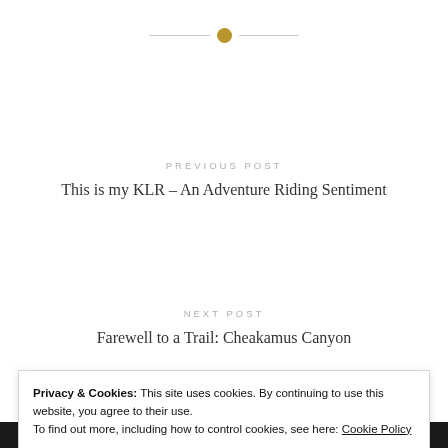[Figure (other): Decorative divider with a horizontal line and gold circle in the center]
PREVIOUS POST
This is my KLR – An Adventure Riding Sentiment
NEXT POST
Farewell to a Trail: Cheakamus Canyon
Privacy & Cookies: This site uses cookies. By continuing to use this website, you agree to their use.
To find out more, including how to control cookies, see here: Cookie Policy
Close and accept